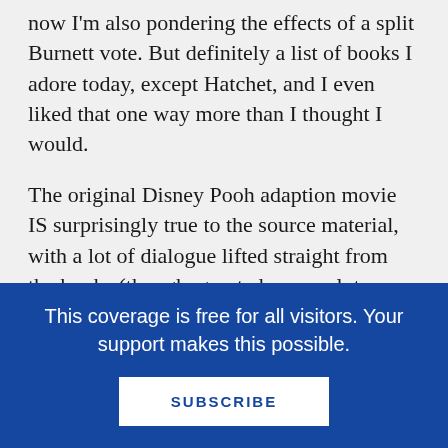now I'm also pondering the effects of a split Burnett vote. But definitely a list of books I adore today, except Hatchet, and I even liked that one way more than I thought I would.
The original Disney Pooh adaption movie IS surprisingly true to the source material, with a lot of dialogue lifted straight from the books (though, granted, more plot liberties than anyone would allow with a favorite book adaption anymore). It's all the spin-off stuff that really loses the original charm. After slogging through some terrible Disneey Pooh picture books with my toddler, I decided, that's it, we're reading the originals! But then how can the art
This coverage is free for all visitors. Your support makes this possible.
SUBSCRIBE